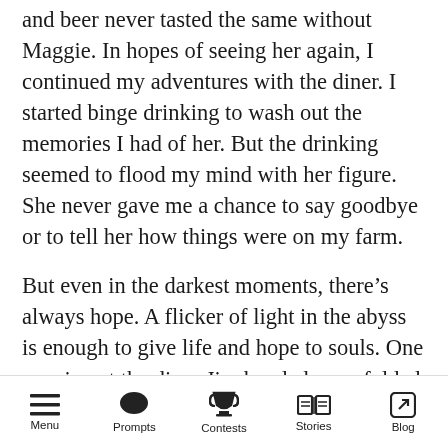and beer never tasted the same without Maggie. In hopes of seeing her again, I continued my adventures with the diner. I started binge drinking to wash out the memories I had of her. But the drinking seemed to flood my mind with her figure. She never gave me a chance to say goodbye or to tell her how things were on my farm.
But even in the darkest moments, there’s always hope. A flicker of light in the abyss is enough to give life and hope to souls. One evening at the diner Jim handed me a folded note with a grin on his face.
‘I hope this will give you a reason to show’ Jim
Menu  Prompts  Contests  Stories  Blog